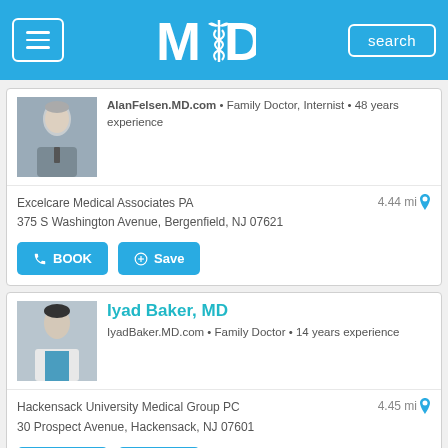MD - search
AlanFelsen.MD.com • Family Doctor, Internist • 48 years experience
Excelcare Medical Associates PA
375 S Washington Avenue, Bergenfield, NJ 07621
4.44 mi
BOOK  Save
Iyad Baker, MD
IyadBaker.MD.com • Family Doctor • 14 years experience
Hackensack University Medical Group PC
30 Prospect Avenue, Hackensack, NJ 07601
4.45 mi
BOOK  Save